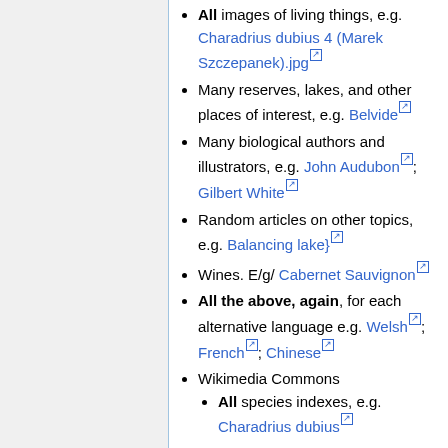All images of living things, e.g. Charadrius dubius 4 (Marek Szczepanek).jpg
Many reserves, lakes, and other places of interest, e.g. Belvide
Many biological authors and illustrators, e.g. John Audubon; Gilbert White
Random articles on other topics, e.g. Balancing lake}
Wines. E/g/ Cabernet Sauvignon
All the above, again, for each alternative language e.g. Welsh; French; Chinese
Wikimedia Commons
All species indexes, e.g. Charadrius dubius
Each individual image, e.g.